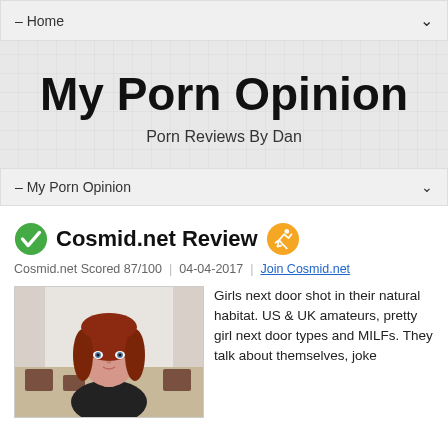– Home
My Porn Opinion
Porn Reviews By Dan
– My Porn Opinion
Cosmid.net Review
Cosmid.net Scored 87/100 | 04-04-2017 | Join Cosmid.net
[Figure (photo): Photo of a young woman with red hair and blue eyes, wearing a black top, sitting in front of a light background with brown blocks visible.]
Girls next door shot in their natural habitat. US & UK amateurs, pretty girl next door types and MILFs. They talk about themselves, joke